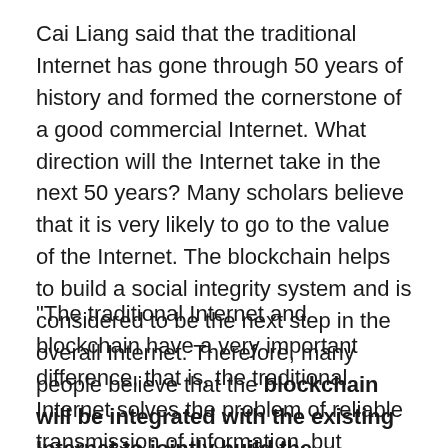Cai Liang said that the traditional Internet has gone through 50 years of history and formed the cornerstone of a good commercial Internet. What direction will the Internet take in the next 50 years? Many scholars believe that it is very likely to go to the value of the Internet. The blockchain helps to build a social integrity system and is considered to be the next step in the overall Internet. Therefore, many people believe that the blockchain will be integrated with the existing Internet to jointly build the infrastructure of the next generation Internet.
"The traditional Internet and blockchain have a very important difference, that is, the traditional Internet solves the problem of reliable transmission of information, but whether it is artificial intelligence technology or big data analysis technology, it is only judged from the probability on the Internet and The other party to your communication